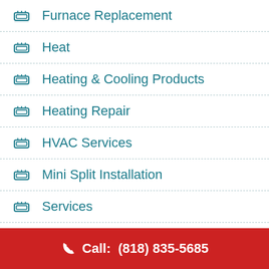Furnace Replacement
Heat
Heating & Cooling Products
Heating Repair
HVAC Services
Mini Split Installation
Services
Thermostat installation
Call:  (818) 835-5685